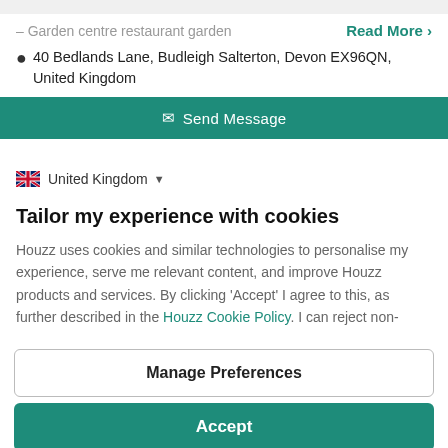– Garden centre restaurant garden
Read More >
40 Bedlands Lane, Budleigh Salterton, Devon EX96QN, United Kingdom
Send Message
United Kingdom
Tailor my experience with cookies
Houzz uses cookies and similar technologies to personalise my experience, serve me relevant content, and improve Houzz products and services. By clicking 'Accept' I agree to this, as further described in the Houzz Cookie Policy. I can reject non-
Manage Preferences
Accept